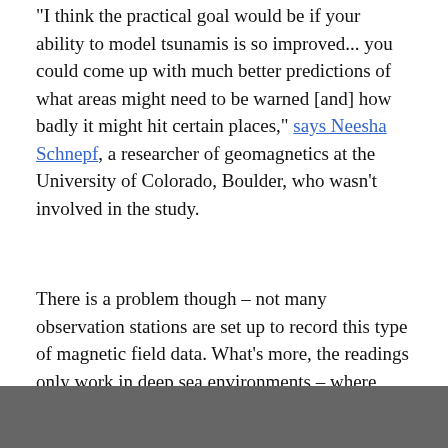"I think the practical goal would be if your ability to model tsunamis is so improved... you could come up with much better predictions of what areas might need to be warned [and] how badly it might hit certain places," says Neesha Schnepf, a researcher of geomagnetics at the University of Colorado, Boulder, who wasn't involved in the study.
There is a problem though – not many observation stations are set up to record this type of magnetic field data. What's more, the readings only work in deep sea environments – where there's less background environmental